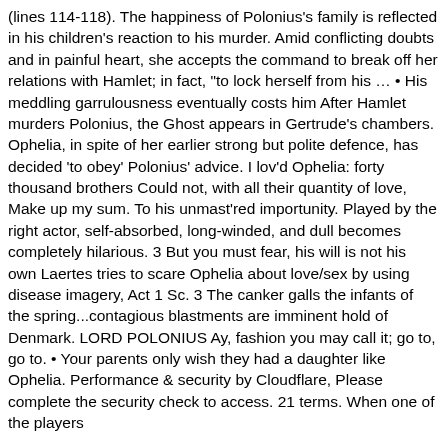(lines 114-118). The happiness of Polonius's family is reflected in his children's reaction to his murder. Amid conflicting doubts and in painful heart, she accepts the command to break off her relations with Hamlet; in fact, "to lock herself from his … • His meddling garrulousness eventually costs him After Hamlet murders Polonius, the Ghost appears in Gertrude's chambers. Ophelia, in spite of her earlier strong but polite defence, has decided 'to obey' Polonius' advice. I lov'd Ophelia: forty thousand brothers Could not, with all their quantity of love, Make up my sum. To his unmast'red importunity. Played by the right actor, self-absorbed, long-winded, and dull becomes completely hilarious. 3 But you must fear, his will is not his own Laertes tries to scare Ophelia about love/sex by using disease imagery, Act 1 Sc. 3 The canker galls the infants of the spring...contagious blastments are imminent hold of Denmark. LORD POLONIUS Ay, fashion you may call it; go to, go to. • Your parents only wish they had a daughter like Ophelia. Performance & security by Cloudflare, Please complete the security check to access. 21 terms. When one of the players